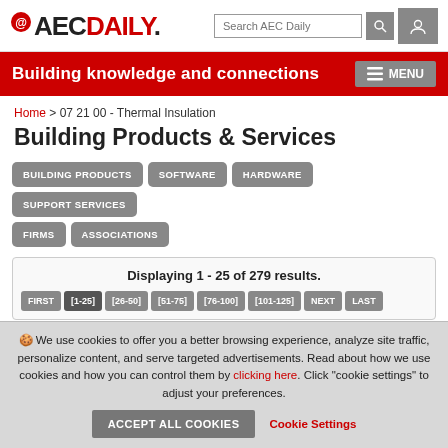@AECDaily. Search AEC Daily [search button] [user button]
Building knowledge and connections MENU
Home > 07 21 00 - Thermal Insulation
Building Products & Services
BUILDING PRODUCTS
SOFTWARE
HARDWARE
SUPPORT SERVICES
FIRMS
ASSOCIATIONS
Displaying 1 - 25 of 279 results.
FIRST [1-25] [26-50] [51-75] [76-100] [101-125] NEXT LAST
🍪 We use cookies to offer you a better browsing experience, analyze site traffic, personalize content, and serve targeted advertisements. Read about how we use cookies and how you can control them by clicking here. Click "cookie settings" to adjust your preferences.
ACCEPT ALL COOKIES  Cookie Settings